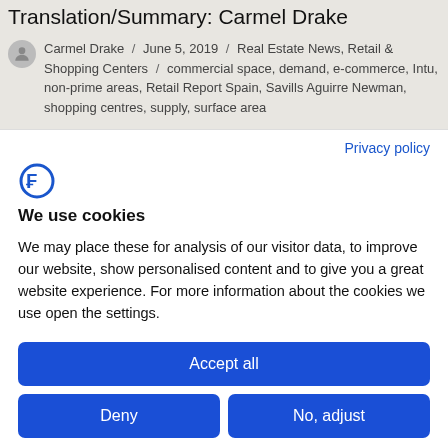Translation/Summary: Carmel Drake
Carmel Drake / June 5, 2019 / Real Estate News, Retail & Shopping Centers / commercial space, demand, e-commerce, Intu, non-prime areas, Retail Report Spain, Savills Aguirre Newman, shopping centres, supply, surface area
Privacy policy
[Figure (logo): Blue stylized CF or Feedough logo icon]
We use cookies
We may place these for analysis of our visitor data, to improve our website, show personalised content and to give you a great website experience. For more information about the cookies we use open the settings.
Accept all
Deny
No, adjust